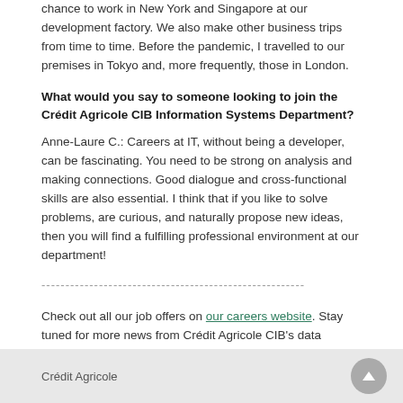chance to work in New York and Singapore at our development factory. We also make other business trips from time to time. Before the pandemic, I travelled to our premises in Tokyo and, more frequently, those in London.
What would you say to someone looking to join the Crédit Agricole CIB Information Systems Department?
Anne-Laure C.: Careers at IT, without being a developer, can be fascinating. You need to be strong on analysis and making connections. Good dialogue and cross-functional skills are also essential. I think that if you like to solve problems, are curious, and naturally propose new ideas, then you will find a fulfilling professional environment at our department!
-------------------------------------------------------
Check out all our job offers on our careers website. Stay tuned for more news from Crédit Agricole CIB's data science communities!
Crédit Agricole